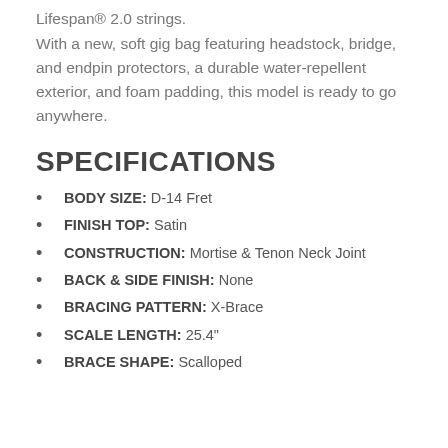Lifespan® 2.0 strings.
With a new, soft gig bag featuring headstock, bridge, and endpin protectors, a durable water-repellent exterior, and foam padding, this model is ready to go anywhere.
SPECIFICATIONS
BODY SIZE: D-14 Fret
FINISH TOP: Satin
CONSTRUCTION: Mortise & Tenon Neck Joint
BACK & SIDE FINISH: None
BRACING PATTERN: X-Brace
SCALE LENGTH: 25.4"
BRACE SHAPE: Scalloped